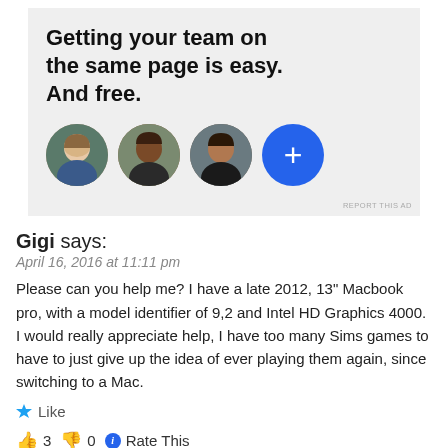[Figure (infographic): Advertisement banner with text 'Getting your team on the same page is easy. And free.' and four circular avatars (three person photos + one blue plus button)]
REPORT THIS AD
Gigi says:
April 16, 2016 at 11:11 pm
Please can you help me? I have a late 2012, 13" Macbook pro, with a model identifier of 9,2 and Intel HD Graphics 4000. I would really appreciate help, I have too many Sims games to have to just give up the idea of ever playing them again, since switching to a Mac.
Like
👍 3 👎 0 Rate This